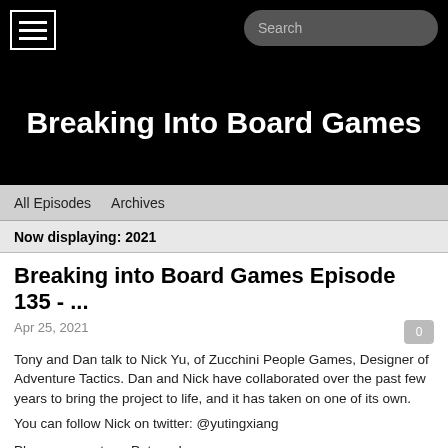Breaking Into Board Games
All Episodes   Archives
Now displaying: 2021
Breaking into Board Games Episode 135 - ...
Apr 25, 2021
Tony and Dan talk to Nick Yu, of Zucchini People Games, Designer of Adventure Tactics. Dan and Nick have collaborated over the past few years to bring the project to life, and it has taken on one of its own.
You can follow Nick on twitter: @yutingxiang
Please support our Patreon!